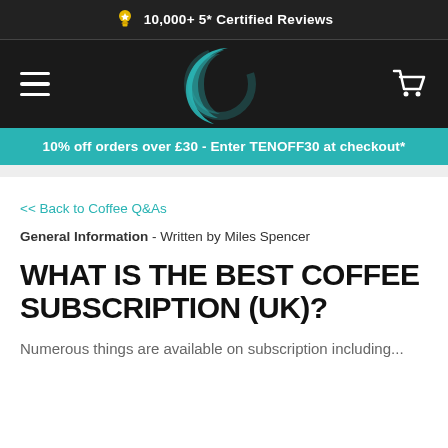🏅 10,000+ 5* Certified Reviews
[Figure (logo): Navigation bar with hamburger menu, teal crescent moon logo, and shopping cart icon on dark background]
10% off orders over £30 - Enter TENOFF30 at checkout*
<< Back to Coffee Q&As
General Information - Written by Miles Spencer
WHAT IS THE BEST COFFEE SUBSCRIPTION (UK)?
Numerous things are available on subscription including...